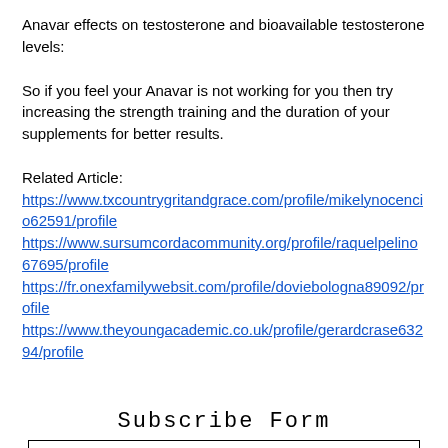Anavar effects on testosterone and bioavailable testosterone levels:
So if you feel your Anavar is not working for you then try increasing the strength training and the duration of your supplements for better results.
Related Article:
https://www.txcountrygritandgrace.com/profile/mikelynocencio62591/profile
https://www.sursumcordacommunity.org/profile/raquelpelino67695/profile
https://fr.onexfamilywebsit.com/profile/doviebologna89092/profile
https://www.theyoungacademic.co.uk/profile/gerardcrase63294/profile
Subscribe Form